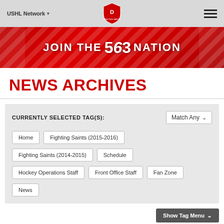USHL Network | Dubuque Fighting Saints logo | Hamburger menu
[Figure (illustration): Red banner with diagonal stripes reading JOIN THE 563 NATION]
NEWS ARCHIVES
CURRENTLY SELECTED TAG(S):
Home
Fighting Saints (2015-2016)
Fighting Saints (2014-2015)
Schedule
Hockey Operations Staff
Front Office Staff
Fan Zone
News
Show Tag Menu